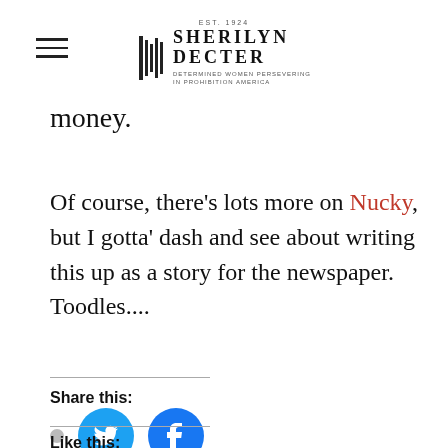SHERILYN DECTER — DETERMINED WOMEN PERSEVERING IN PROHIBITION AMERICA
money.
Of course, there's lots more on Nucky, but I gotta' dash and see about writing this up as a story for the newspaper. Toodles....
Share this:
[Figure (other): Twitter and Facebook social share buttons (circular blue icons)]
Like this: